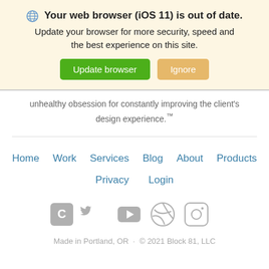🌐 Your web browser (iOS 11) is out of date. Update your browser for more security, speed and the best experience on this site. [Update browser] [Ignore]
unhealthy obsession for constantly improving the client's design experience.™
Home  Work  Services  Blog  About  Products
Privacy  Login
[Figure (other): Row of social media icons: C (Craft), Twitter, YouTube, Dribbble, Instagram — all in gray]
Made in Portland, OR  ·  © 2021 Block 81, LLC